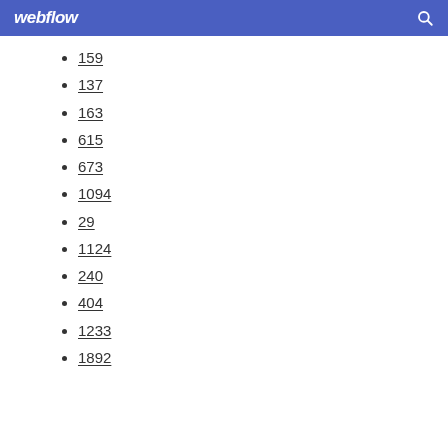webflow
159
137
163
615
673
1094
29
1124
240
404
1233
1892